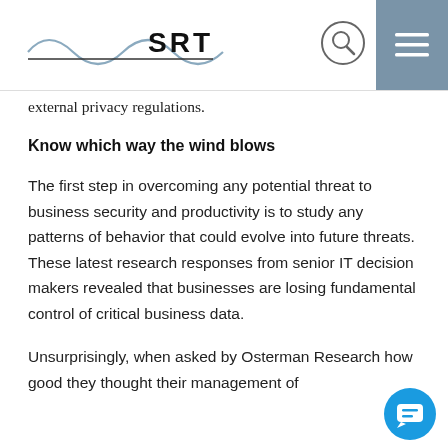SRT
external privacy regulations.
Know which way the wind blows
The first step in overcoming any potential threat to business security and productivity is to study any patterns of behavior that could evolve into future threats. These latest research responses from senior IT decision makers revealed that businesses are losing fundamental control of critical business data.
Unsurprisingly, when asked by Osterman Research how good they thought their management of